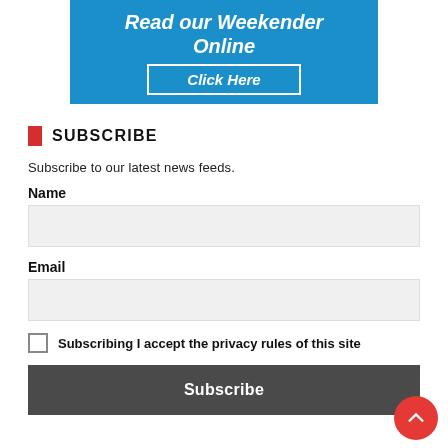[Figure (other): Blue banner with italic bold white text 'Read our Weekender Online' and a bordered 'Click Here' button]
SUBSCRIBE
Subscribe to our latest news feeds.
Name
Email
Subscribing I accept the privacy rules of this site
Subscribe